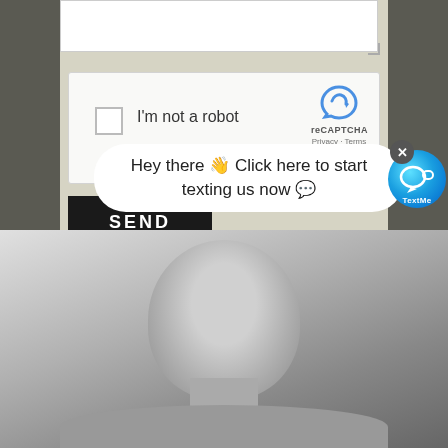[Figure (screenshot): Top portion of a web contact form showing a textarea input with resize handle, a reCAPTCHA widget with checkbox labeled 'I'm not a robot' and reCAPTCHA branding, and a black SEND button on a beige/tan background with dark gray page background.]
I'm not a robot
reCAPTCHA
Privacy · Terms
SEND
[Figure (photo): Black and white photo of a bald man looking upward, shown from shoulders up, with a blurred background.]
Hey there 👋 Click here to start texting us now 💬
[Figure (logo): TextMe app logo — circular blue gradient icon with phone/chat symbols and 'TextMe' text beneath.]